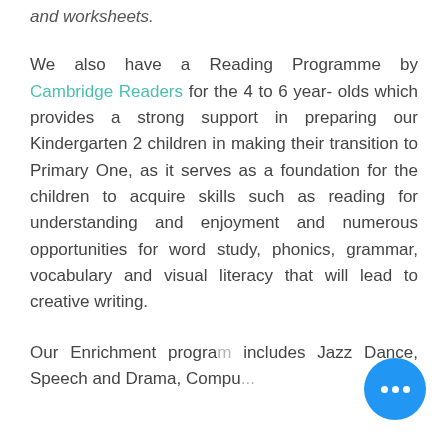and worksheets.
We also have a Reading Programme by Cambridge Readers for the 4 to 6 year- olds which provides a strong support in preparing our Kindergarten 2 children in making their transition to Primary One, as it serves as a foundation for the children to acquire skills such as reading for understanding and enjoyment and numerous opportunities for word study, phonics, grammar, vocabulary and visual literacy that will lead to creative writing.
Our Enrichment progra... includes Jazz Dance, Speech and Drama, Compu...